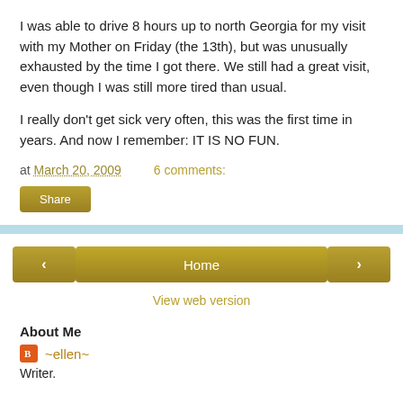I was able to drive 8 hours up to north Georgia for my visit with my Mother on Friday (the 13th), but was unusually exhausted by the time I got there. We still had a great visit, even though I was still more tired than usual.
I really don't get sick very often, this was the first time in years. And now I remember: IT IS NO FUN.
at March 20, 2009   6 comments:
Share
< Home >
View web version
About Me
~ellen~
Writer.